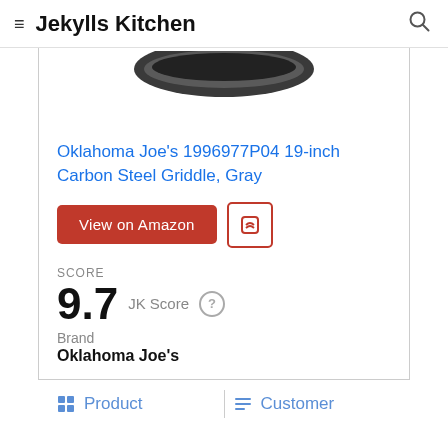Jekylls Kitchen
[Figure (photo): Partial view of a dark gray carbon steel griddle seen from above, showing the curved rim at the top of the image.]
Oklahoma Joe's 1996977P04 19-inch Carbon Steel Griddle, Gray
View on Amazon [button] [save button]
SCORE
9.7 JK Score
Brand
Oklahoma Joe's
Product   Customer